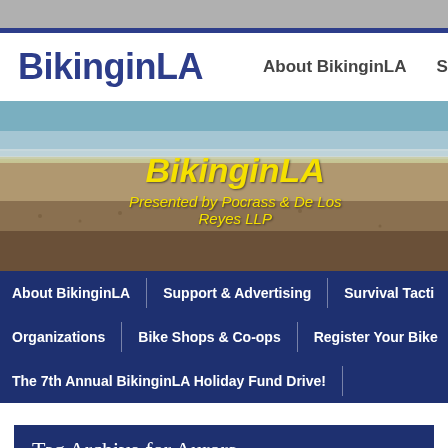BikinginLA
About BikinginLA  Su
[Figure (photo): Beach scene with ocean water, sandy shore, and overlaid yellow italic text reading 'BikinginLA' and 'Presented by Pocrass & De Los Reyes LLP']
About BikinginLA
Support & Advertising
Survival Tacti
Organizations
Bike Shops & Co-ops
Register Your Bike
The 7th Annual BikinginLA Holiday Fund Drive!
Tag Archive for Aurora